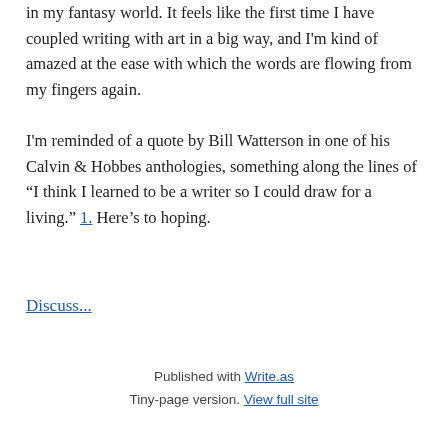in my fantasy world. It feels like the first time I have coupled writing with art in a big way, and I'm kind of amazed at the ease with which the words are flowing from my fingers again.
I'm reminded of a quote by Bill Watterson in one of his Calvin & Hobbes anthologies, something along the lines of “I think I learned to be a writer so I could draw for a living.” 1. Here’s to hoping.
Discuss...
Published with Write.as
Tiny-page version. View full site